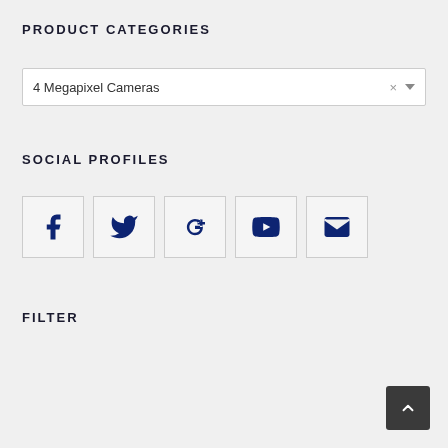PRODUCT CATEGORIES
[Figure (screenshot): Dropdown selector showing '4 Megapixel Cameras' with close (x) and arrow controls]
SOCIAL PROFILES
[Figure (infographic): Row of 5 social media icon boxes: Facebook, Twitter, Google+, YouTube, Email]
FILTER